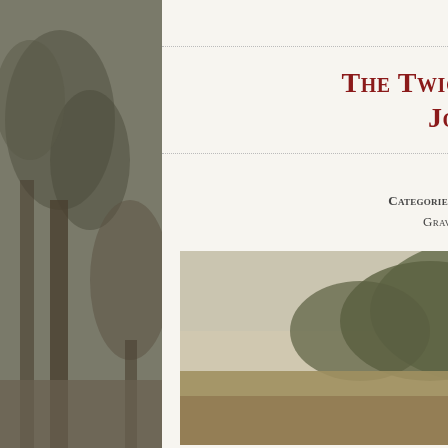June 8, 2012 by mosesdoan
The Twice-Buried Murderer Joseph Blundin
No comments yet
Categories: Bristol, Crime, Death, Doylestown, Graves, Maps, Tags: Strangers Row
[Figure (photo): Sepia-toned historical photograph of a person wearing a wide-brimmed hat and vest, holding farming equipment, standing in a field with trees in the background]